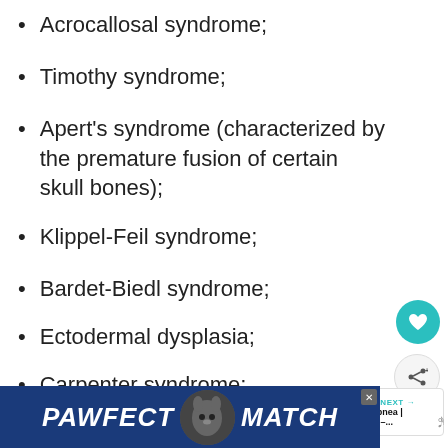Acrocallosal syndrome;
Timothy syndrome;
Apert's syndrome (characterized by the premature fusion of certain skull bones);
Klippel-Feil syndrome;
Bardet-Biedl syndrome;
Ectodermal dysplasia;
Carpenter syndrome;
Smith-Lemli-Opitz syndrome;
Cornelia de Lange syndrome;